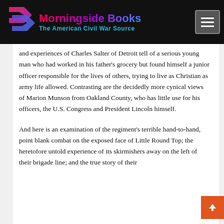[Figure (logo): Morningside Books logo with stylized arrow icon and text 'Morningside Books - The American Civil War Source' on black header bar]
and experiences of Charles Salter of Detroit tell of a serious young man who had worked in his father's grocery but found himself a junior officer responsible for the lives of others, trying to live as Christian as army life allowed. Contrasting are the decidedly more cynical views of Marion Munson from Oakland County, who has little use for his officers, the U.S. Congress and President Lincoln himself.
And here is an examination of the regiment's terrible hand-to-hand, point blank combat on the exposed face of Little Round Top; the heretofore untold experience of its skirmishers away on the left of their brigade line; and the true story of their